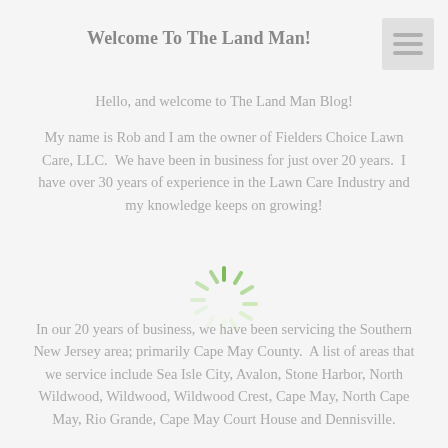Welcome To The Land Man!
Hello, and welcome to The Land Man Blog!
My name is Rob and I am the owner of Fielders Choice Lawn Care, LLC.  We have been in business for just over 20 years.  I have over 30 years of experience in the Lawn Care Industry and my knowledge keeps on growing!
[Figure (other): Loading spinner icon (green circular spinner)]
In our 20 years of business, we have been servicing the Southern New Jersey area; primarily Cape May County.  A list of areas that we service include Sea Isle City, Avalon, Stone Harbor, North Wildwood, Wildwood, Wildwood Crest, Cape May, North Cape May, Rio Grande, Cape May Court House and Dennisville.